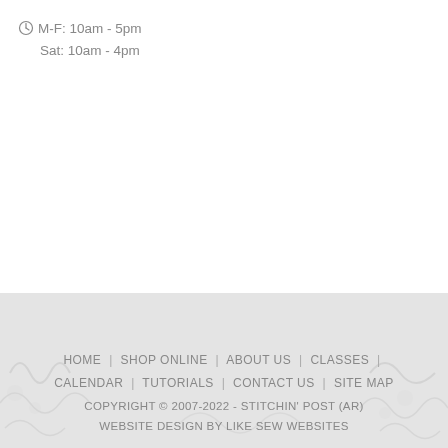M-F: 10am - 5pm
Sat: 10am - 4pm
HOME | SHOP ONLINE | ABOUT US | CLASSES | CALENDAR | TUTORIALS | CONTACT US | SITE MAP
COPYRIGHT © 2007-2022 - STITCHIN' POST (AR)
WEBSITE DESIGN BY LIKE SEW WEBSITES